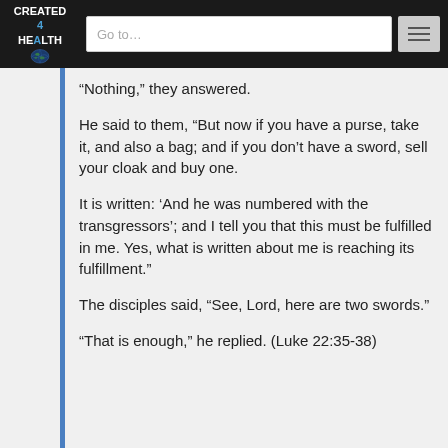CREATED 4 HEALTH | Go to...
“Nothing,” they answered.
He said to them, “But now if you have a purse, take it, and also a bag; and if you don’t have a sword, sell your cloak and buy one.
It is written: ‘And he was numbered with the transgressors’; and I tell you that this must be fulfilled in me. Yes, what is written about me is reaching its fulfillment.”
The disciples said, “See, Lord, here are two swords.”
“That is enough,” he replied. (Luke 22:35-38)